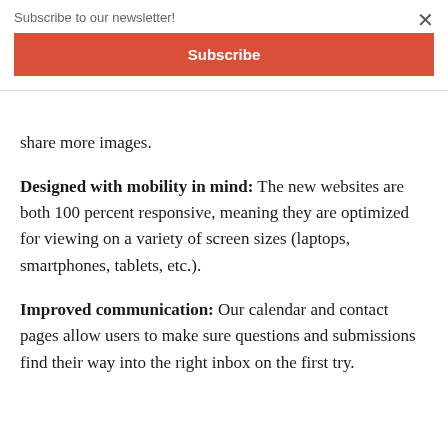Subscribe to our newsletter!
Subscribe
share more images.
Designed with mobility in mind: The new websites are both 100 percent responsive, meaning they are optimized for viewing on a variety of screen sizes (laptops, smartphones, tablets, etc.).
Improved communication: Our calendar and contact pages allow users to make sure questions and submissions find their way into the right inbox on the first try.